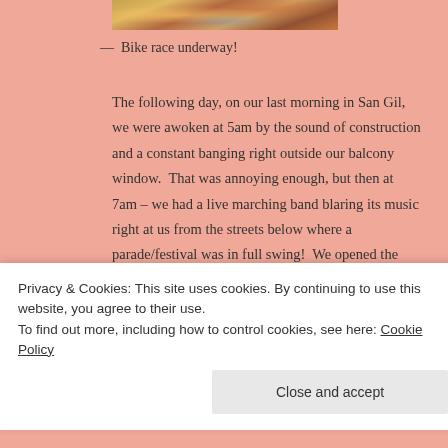[Figure (photo): Top portion of a bike race photo showing colorful cyclists, cropped at the top of the page]
— Bike race underway!
The following day, on our last morning in San Gil, we were awoken at 5am by the sound of construction and a constant banging right outside our balcony window. That was annoying enough, but then at 7am – we had a live marching band blaring its music right at us from the streets below where a parade/festival was in full swing! We opened the windows, bleary eyed in disbelief at the commotion and noise going on so early in the day.
Privacy & Cookies: This site uses cookies. By continuing to use this website, you agree to their use. To find out more, including how to control cookies, see here: Cookie Policy
Close and accept